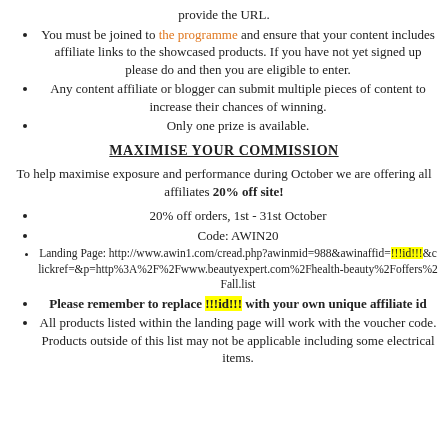provide the URL.
You must be joined to the programme and ensure that your content includes affiliate links to the showcased products. If you have not yet signed up please do and then you are eligible to enter.
Any content affiliate or blogger can submit multiple pieces of content to increase their chances of winning.
Only one prize is available.
MAXIMISE YOUR COMMISSION
To help maximise exposure and performance during October we are offering all affiliates 20% off site!
20% off orders, 1st - 31st October
Code: AWIN20
Landing Page: http://www.awin1.com/cread.php?awinmid=988&awinaffid=!!!id!!!&clickref=&p=http%3A%2F%2Fwww.beautyexpert.com%2Fhealth-beauty%2Foffers%2Fall.list
Please remember to replace !!!id!!! with your own unique affiliate id
All products listed within the landing page will work with the voucher code. Products outside of this list may not be applicable including some electrical items.